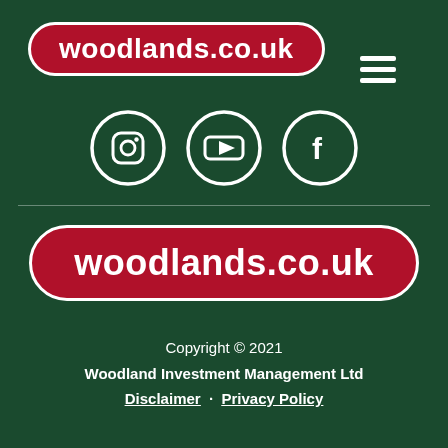[Figure (logo): woodlands.co.uk logo in red rounded badge with white border, top left]
[Figure (other): Hamburger menu icon (three white horizontal lines) top right]
[Figure (other): Three social media icons in white circles: Instagram, YouTube, Facebook]
[Figure (logo): woodlands.co.uk logo in red rounded badge with white border, center]
Copyright © 2021
Woodland Investment Management Ltd
Disclaimer · Privacy Policy